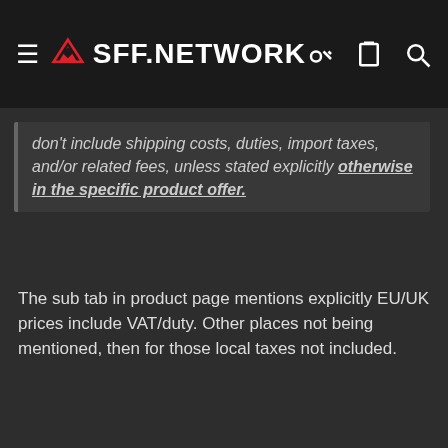SFF.NETWORK
don't include shipping costs, duties, import taxes, and/or related fees, unless stated explicitly otherwise in the specific product offer.
The sub tab in product page mentions explicitly EU/UK prices include VAT/duty. Other places not being mentioned, then for those local taxes not included.
↩ Reply
iatacs19
This site uses cookies to help personalise content, tailor your experience and to keep you logged in if you register. By continuing to use this site, you are consenting to our use of cookies.
✓ Accept
Learn more...